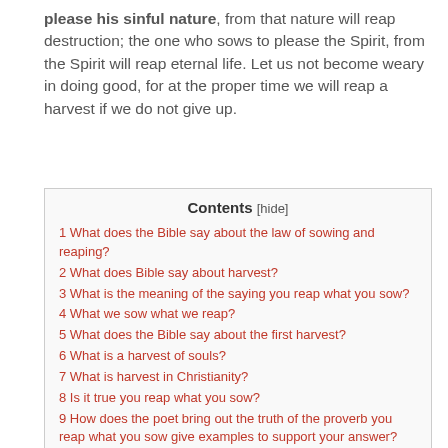please his sinful nature, from that nature will reap destruction; the one who sows to please the Spirit, from the Spirit will reap eternal life. Let us not become weary in doing good, for at the proper time we will reap a harvest if we do not give up.
| Contents [hide] |
| --- |
| 1 What does the Bible say about the law of sowing and reaping? |
| 2 What does Bible say about harvest? |
| 3 What is the meaning of the saying you reap what you sow? |
| 4 What we sow what we reap? |
| 5 What does the Bible say about the first harvest? |
| 6 What is a harvest of souls? |
| 7 What is harvest in Christianity? |
| 8 Is it true you reap what you sow? |
| 9 How does the poet bring out the truth of the proverb you reap what you sow give examples to support your answer? |
| 10 What you sow so you reap quotes? |